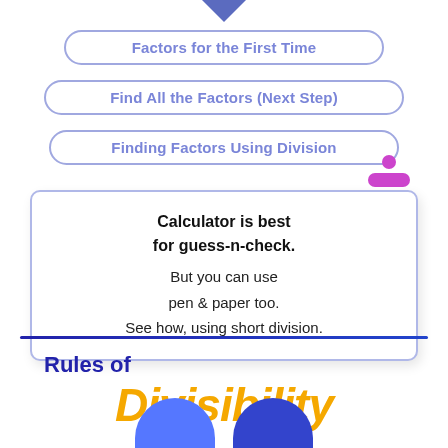Factors for the First Time
Find All the Factors (Next Step)
Finding Factors Using Division
Calculator is best for guess-n-check. But you can use pen & paper too. See how, using short division.
Rules of
Divisibility